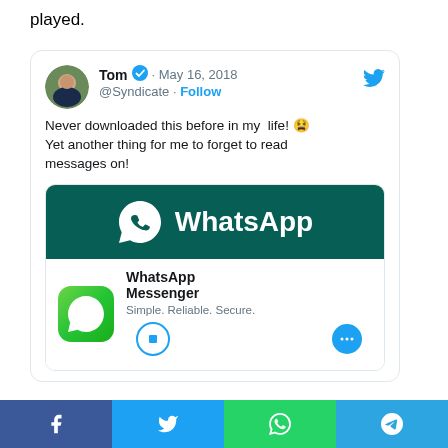played.
[Figure (screenshot): Tweet by @Syndicate (Tom) dated May 16, 2018 saying 'Never downloaded this before in my life! Yet another thing for me to forget to read messages on!' with a WhatsApp Messenger app preview card showing the WhatsApp logo on a dark teal background and the app icon with name, tagline 'Simple. Reliable. Secure.' below.]
[Figure (infographic): Social media share bar at bottom with Facebook, Twitter, WhatsApp, and Telegram buttons.]